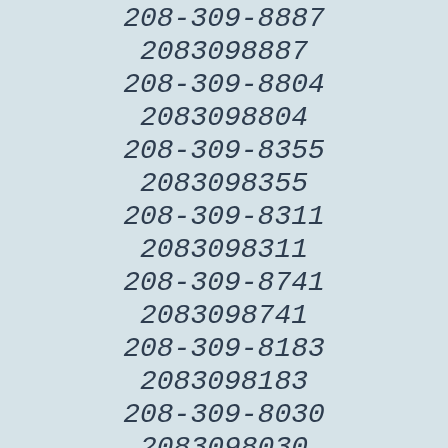208-309-8887
2083098887
208-309-8804
2083098804
208-309-8355
2083098355
208-309-8311
2083098311
208-309-8741
2083098741
208-309-8183
2083098183
208-309-8030
2083098030
208-309-8798
2083098798